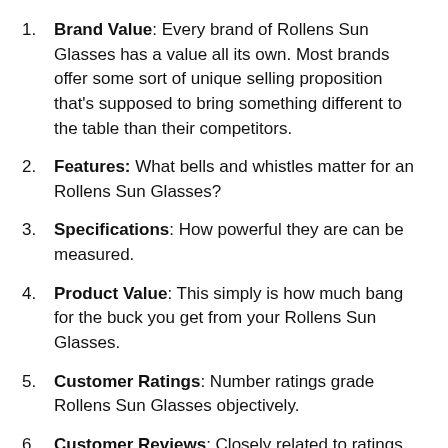Brand Value: Every brand of Rollens Sun Glasses has a value all its own. Most brands offer some sort of unique selling proposition that's supposed to bring something different to the table than their competitors.
Features: What bells and whistles matter for an Rollens Sun Glasses?
Specifications: How powerful they are can be measured.
Product Value: This simply is how much bang for the buck you get from your Rollens Sun Glasses.
Customer Ratings: Number ratings grade Rollens Sun Glasses objectively.
Customer Reviews: Closely related to ratings, these paragraphs give you first-hand and detailed information from real-world users about their Rollens